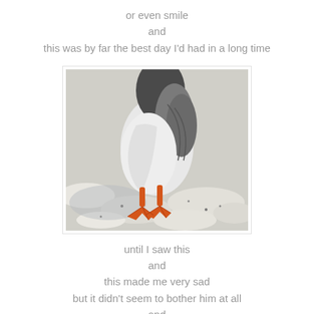or even smile
and
this was by far the best day I'd had in a long time
[Figure (photo): Close-up photo of a goose standing on snowy ground, seen from below. The goose has grey and white feathers, dark head and neck, and orange webbed feet visible.]
until I saw this
and
this made me very sad
but it didn't seem to bother him at all
and
he played really well with the other geese who had perfect feet
and